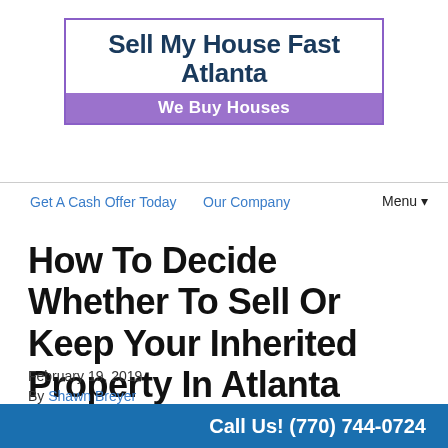Sell My House Fast Atlanta
We Buy Houses
Get A Cash Offer Today   Our Company   Menu ▾
How To Decide Whether To Sell Or Keep Your Inherited Property In Atlanta
February 19, 2019
By Shawn Breyer
Are you trying to decide whether to sell or keep your inherited...
Call Us! (770) 744-0724